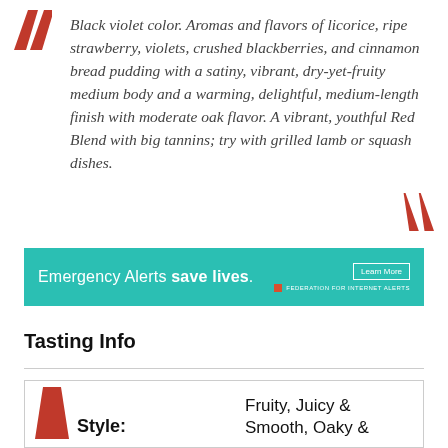Black violet color. Aromas and flavors of licorice, ripe strawberry, violets, crushed blackberries, and cinnamon bread pudding with a satiny, vibrant, dry-yet-fruity medium body and a warming, delightful, medium-length finish with moderate oak flavor. A vibrant, youthful Red Blend with big tannins; try with grilled lamb or squash dishes.
[Figure (other): Advertisement banner for Emergency Alerts. Teal/turquoise background with white text: 'Emergency Alerts save lives.' with a Learn More button and FEDERATION FOR INTERNET ALERTS logo.]
Tasting Info
Style: Fruity, Juicy & Smooth, Oaky &